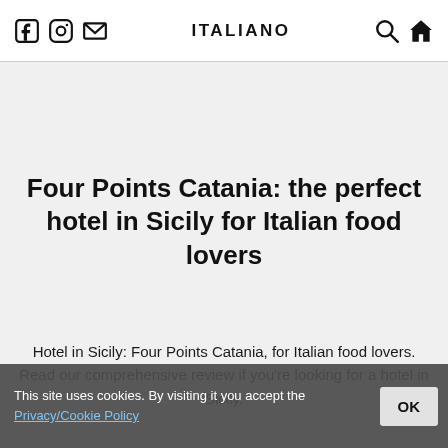ITALIANO
Four Points Catania: the perfect hotel in Sicily for Italian food lovers
Hotel in Sicily: Four Points Catania, for Italian food lovers. Read our comprehensive review if you're looking for a hotel in Sicily.
This site uses cookies. By visiting it you accept the Privacy/Cookie Policy